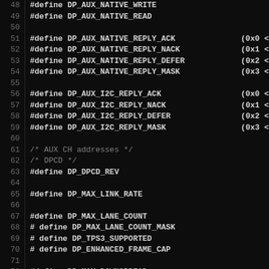Source code listing: DisplayPort AUX channel definitions (lines 48-77)
48  #define DP_AUX_NATIVE_WRITE   0x8
49  #define DP_AUX_NATIVE_READ    0x9
50
51  #define DP_AUX_NATIVE_REPLY_ACK   (0x0 <<
52  #define DP_AUX_NATIVE_REPLY_NACK  (0x1 <<
53  #define DP_AUX_NATIVE_REPLY_DEFER (0x2 <<
54  #define DP_AUX_NATIVE_REPLY_MASK  (0x3 <<
55
56  #define DP_AUX_I2C_REPLY_ACK    (0x0 <<
57  #define DP_AUX_I2C_REPLY_NACK   (0x1 <<
58  #define DP_AUX_I2C_REPLY_DEFER  (0x2 <<
59  #define DP_AUX_I2C_REPLY_MASK   (0x3 <<
60
61  /* AUX CH addresses */
62  /* DPCD */
63  #define DP_DPCD_REV   0x0
64
65  #define DP_MAX_LINK_RATE   0x0
66
67  #define DP_MAX_LANE_COUNT   0x0
68  # define DP_MAX_LANE_COUNT_MASK  0x1
69  # define DP_TPS3_SUPPORTED       (1
70  # define DP_ENHANCED_FRAME_CAP   (1
71
72  #define DP_MAX_DOWNSPREAD   0x0
73  # define DP_NO_AUX_HANDSHAKE_LINK_TRAINING  (1
74
75  #define DP_NORP   0x0
76
77  #define DP_DOWNSTREAMPORT_PRESENT  0x0